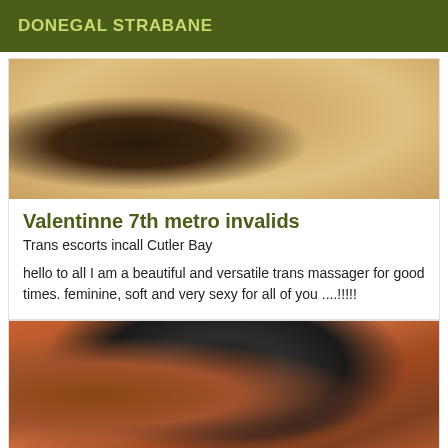DONEGAL STRABANE
[Figure (photo): Close-up photo of a person with blonde hair wearing black lace lingerie]
Valentinne 7th metro invalids
Trans escorts incall Cutler Bay
hello to all I am a beautiful and versatile trans massager for good times. feminine, soft and very sexy for all of you ....!!!!!
[Figure (photo): Photo of a person with dark hair wearing a black fishnet outfit, posed in a room with orange walls]